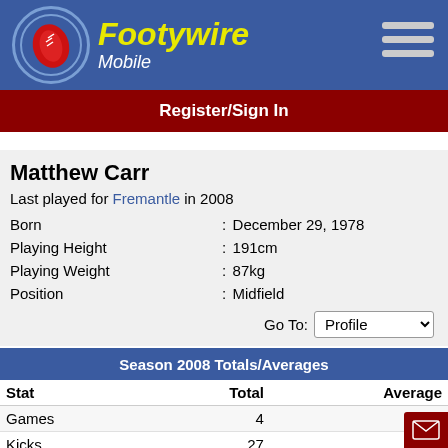[Figure (logo): Footywire Mobile logo with red football icon and yellow italic text]
Register/Sign In
Matthew Carr
Last played for Fremantle in 2008
| Born | : | December 29, 1978 |
| Playing Height | : | 191cm |
| Playing Weight | : | 87kg |
| Position | : | Midfield |
Season 2008 Totals/Averages
| Stat | Total | Average |
| --- | --- | --- |
| Games | 4 | 4 |
| Kicks | 27 | 6.8 |